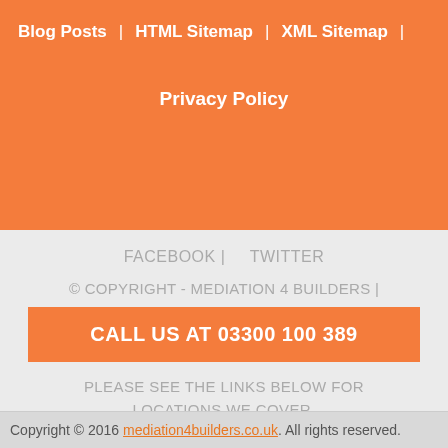Blog Posts | HTML Sitemap | XML Sitemap |
Privacy Policy
FACEBOOK | TWITTER
© COPYRIGHT - MEDIATION 4 BUILDERS |
CALL US AT 03300 100 389
PLEASE SEE THE LINKS BELOW FOR LOCATIONS WE COVER.
Copyright © 2016 mediation4builders.co.uk. All rights reserved.